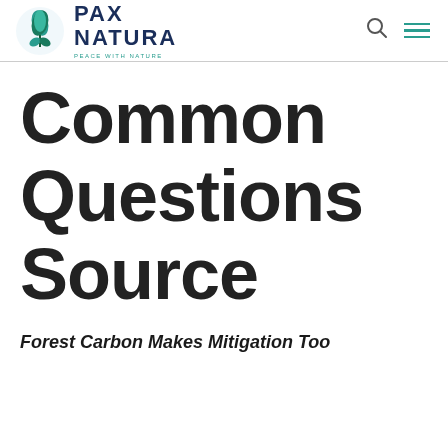[Figure (logo): Pax Natura logo with green leaf/plant emblem and text 'PAX NATURA - PEACE WITH NATURE' with search and menu icons]
Common Questions Source
Forest Carbon Makes Mitigation Too